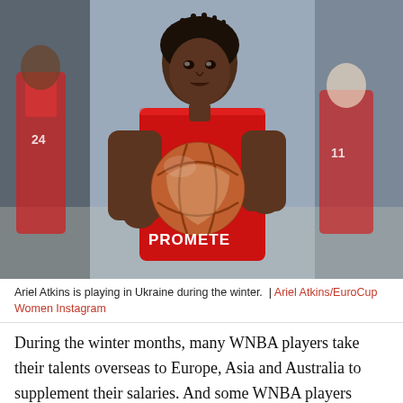[Figure (photo): A basketball player wearing a red PROMETE jersey holds a basketball up near her chest, looking upward. Two other players in red jerseys are blurred in the background. The setting is an indoor basketball court.]
Ariel Atkins is playing in Ukraine during the winter.  |  Ariel Atkins/EuroCup Women Instagram
During the winter months, many WNBA players take their talents overseas to Europe, Asia and Australia to supplement their salaries. And some WNBA players